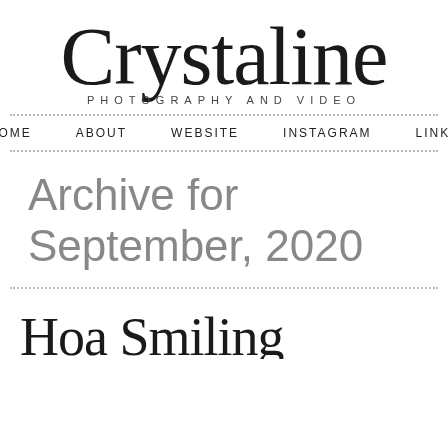[Figure (logo): Crystaline Photography and Video script logo with cursive lettering and subtitle]
HOME   ABOUT   WEBSITE   INSTAGRAM   LINKS
Archive for September, 2020
[Figure (other): Partial cursive text visible at bottom of page, beginning of a blog post title]